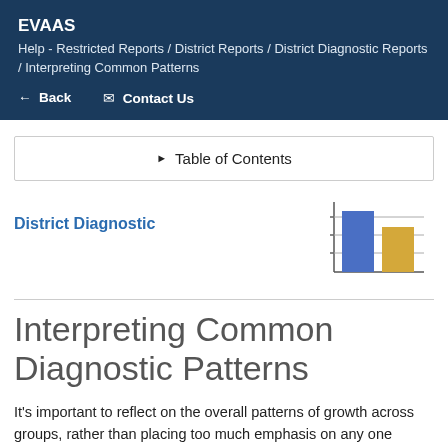EVAAS
Help - Restricted Reports / District Reports / District Diagnostic Reports / Interpreting Common Patterns
← Back  ✉ Contact Us
▶ Table of Contents
District Diagnostic
[Figure (bar-chart): Small bar chart icon showing two bars: a taller blue bar and a shorter gold/yellow bar, with horizontal gridlines and axis lines.]
Interpreting Common Diagnostic Patterns
It's important to reflect on the overall patterns of growth across groups, rather than placing too much emphasis on any one value. The following examples illustrate patterns